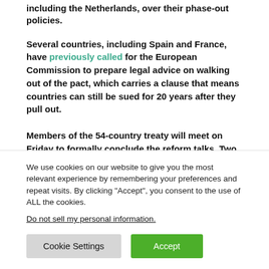including the Netherlands, over their phase-out policies.
Several countries, including Spain and France, have previously called for the European Commission to prepare legal advice on walking out of the pact, which carries a clause that means countries can still be sued for 20 years after they pull out.
Members of the 54-country treaty will meet on Friday to formally conclude the reform talks. Two EU officials told POLITICO that the EU’s proposal to phase out fossil fuel
We use cookies on our website to give you the most relevant experience by remembering your preferences and repeat visits. By clicking “Accept”, you consent to the use of ALL the cookies.
Do not sell my personal information.